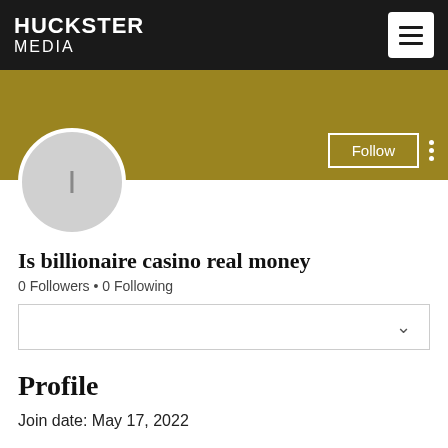HUCKSTER MEDIA
[Figure (screenshot): Gold profile banner background with Follow button and three-dot menu]
[Figure (illustration): Circular grey avatar with letter I]
Is billionaire casino real money
0 Followers • 0 Following
Profile
Join date: May 17, 2022